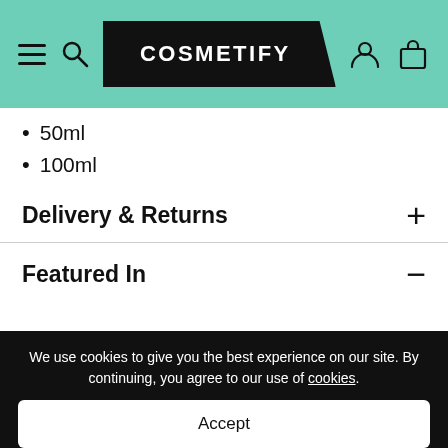COSMETIFY
50ml
100ml
Delivery & Returns
Featured In
A Guide to Finding Your Next Byredo Scent
We use cookies to give you the best experience on our site. By continuing, you agree to our use of cookies.
Accept